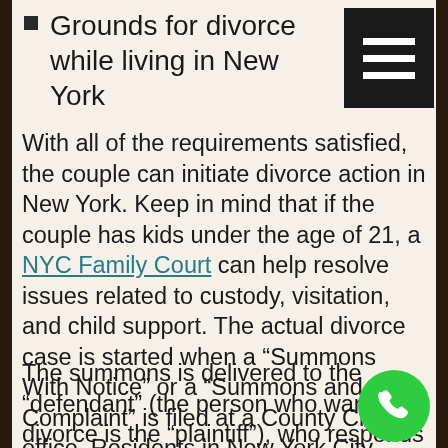Grounds for divorce while living in New York
With all of the requirements satisfied, the couple can initiate divorce action in New York. Keep in mind that if the couple has kids under the age of 21, a NYC Family Court can help resolve issues related to custody, visitation, and child support. The actual divorce case is started when a “Summons With Notice” or a “Summons and Complaint” is filed at a County Clerk’s office. Residents in New York City, specifically New York County, can actually file the papers over the Internet through the New York State Courts Electronic Filing system.
The summons is delivered to the “defendant” (the person who wants the divorce is the “plaintiff”), who responds with a Affidavit of Defendant, which states that the defendant agrees with the divorce and does not argue to